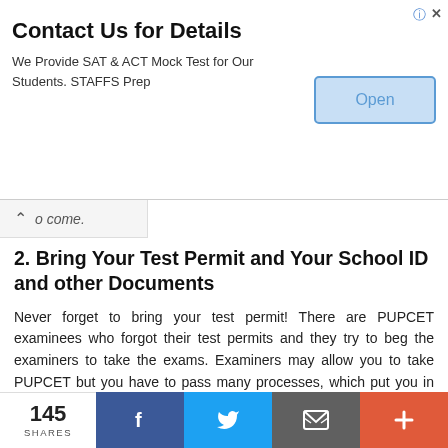[Figure (screenshot): Advertisement banner: 'Contact Us for Details' with subtitle 'We Provide SAT & ACT Mock Test for Our Students. STAFFS Prep' and an Open button on the right. Info and X icons in top-right corner.]
to come.
2. Bring Your Test Permit and Your School ID and other Documents
Never forget to bring your test permit! There are PUPCET examinees who forgot their test permits and they try to beg the examiners to take the exams. Examiners may allow you to take PUPCET but you have to pass many processes, which put you in great stress and might affect your mood in taking the exam.
Bringing your school ID and other documents like school record is also good because if there are some problems, then you have the documents that you need to back yourself
145 SHARES